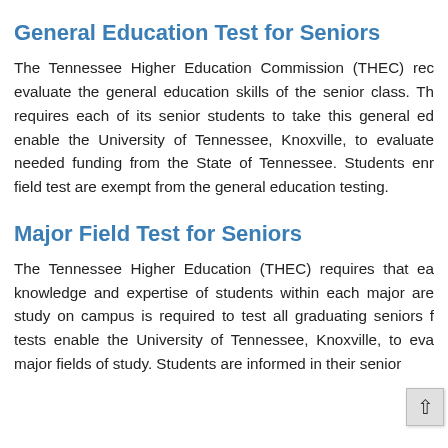General Education Test for Seniors
The Tennessee Higher Education Commission (THEC) requires each of its senior students to take this general education test to enable the University of Tennessee, Knoxville, to evaluate general education skills of the senior class. This test is required to enable the University of Tennessee, Knoxville, to evaluate and secure needed funding from the State of Tennessee. Students enrolled in the major field test are exempt from the general education testing.
Major Field Test for Seniors
The Tennessee Higher Education (THEC) requires that each institution evaluate the knowledge and expertise of students within each major area of study. Each major area of study on campus is required to test all graduating seniors from that program. These tests enable the University of Tennessee, Knoxville, to evaluate the performance of major fields of study. Students are informed in their senior year of the requirement.